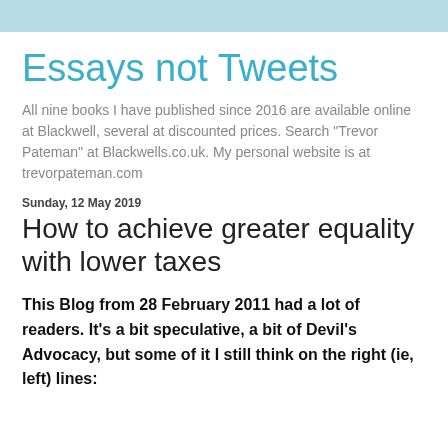Essays not Tweets
All nine books I have published since 2016 are available online at Blackwell, several at discounted prices. Search "Trevor Pateman" at Blackwells.co.uk. My personal website is at trevorpateman.com
Sunday, 12 May 2019
How to achieve greater equality with lower taxes
This Blog from 28 February 2011 had a lot of readers. It’s a bit speculative, a bit of Devil’s Advocacy, but some of it I still think on the right (ie, left) lines: